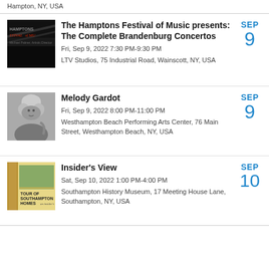Hampton, NY, USA
The Hamptons Festival of Music presents: The Complete Brandenburg Concertos
Fri, Sep 9, 2022 7:30 PM-9:30 PM
LTV Studios, 75 Industrial Road, Wainscott, NY, USA
SEP 9
Melody Gardot
Fri, Sep 9, 2022 8:00 PM-11:00 PM
Westhampton Beach Performing Arts Center, 76 Main Street, Westhampton Beach, NY, USA
SEP 9
Insider's View
Sat, Sep 10, 2022 1:00 PM-4:00 PM
Southampton History Museum, 17 Meeting House Lane, Southampton, NY, USA
SEP 10